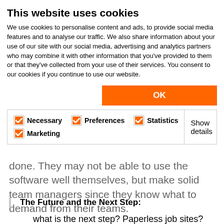This website uses cookies
We use cookies to personalise content and ads, to provide social media features and to analyse our traffic. We also share information about your use of our site with our social media, advertising and analytics partners who may combine it with other information that you've provided to them or that they've collected from your use of their services. You consent to our cookies if you continue to use our website.
OK
Necessary  Preferences  Statistics  Marketing  Show details
done. They may not be able to use the software well themselves, but make solid team managers since they know what to demand from their teams.
The Future and the Next Step:
what is the next step? Paperless job sites? Estimation of materials for recycling? Or perhaps we will begin to close the gap on our closely related cousins in the aeronautic and nautical design and manufacturing world and immerse ourselves in CAD/CAM manufacturing. Now I am well